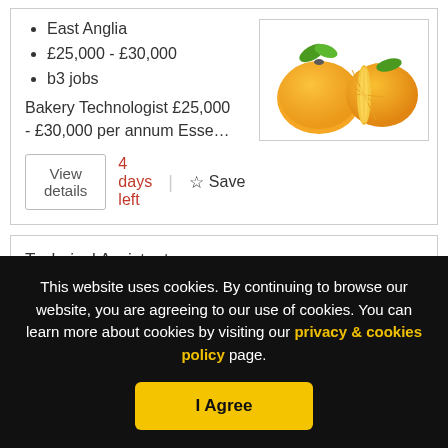East Anglia
£25,000 - £30,000
b3 jobs
Bakery Technologist £25,000 - £30,000 per annum Esse…
[Figure (photo): Photo of two oranges, one whole and one halved, on white background]
View details   4 days left  |  ☆ Save
Technical Assistant
This website uses cookies. By continuing to browse our website, you are agreeing to our use of cookies. You can learn more about cookies by visiting our privacy & cookies policy page.
I Agree